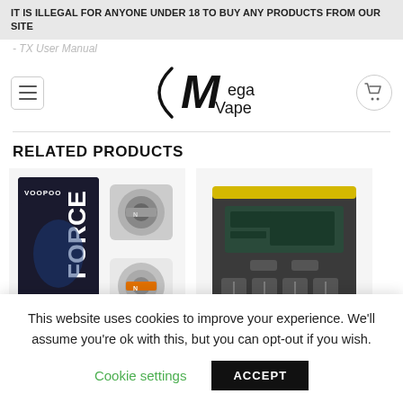IT IS ILLEGAL FOR ANYONE UNDER 18 TO BUY ANY PRODUCTS FROM OUR SITE
- TX User Manual
[Figure (logo): Mega Vape logo with stylized M in arc/parenthesis bracket, hamburger menu button on left, shopping cart icon on right]
RELATED PRODUCTS
[Figure (photo): VooPoo Force coil replacement pack with two individual coil heads shown next to the box]
[Figure (photo): Battery charger device, black and dark grey with yellow top strip, LCD display, four battery slots]
This website uses cookies to improve your experience. We'll assume you're ok with this, but you can opt-out if you wish.
Cookie settings   ACCEPT